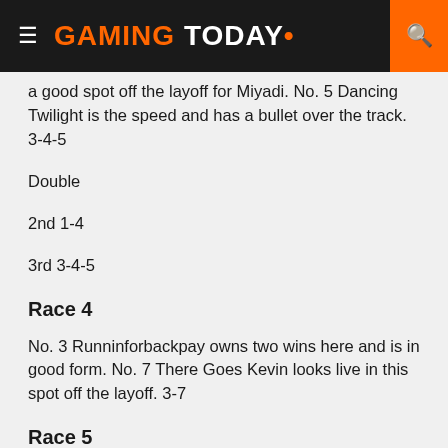GAMING TODAY
... is the speed and has a bullet over the track. 3-4-5
Double
2nd 1-4
3rd 3-4-5
Race 4
No. 3 Runninforbackpay owns two wins here and is in good form. No. 7 There Goes Kevin looks live in this spot off the layoff. 3-7
Race 5
No. 4 Yuma Landing gets a little drop and that could do the trick. No. 6 Dark Night's Light may like the switch to the dirt